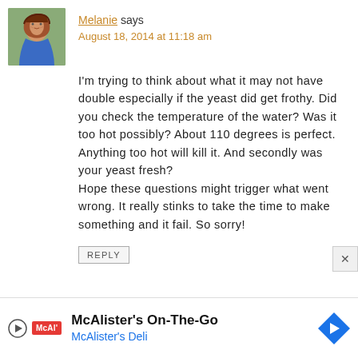[Figure (photo): Avatar photo of Melanie, a woman with red hair wearing a blue top, outdoors]
Melanie says
August 18, 2014 at 11:18 am
I'm trying to think about what it may not have double especially if the yeast did get frothy. Did you check the temperature of the water? Was it too hot possibly? About 110 degrees is perfect. Anything too hot will kill it. And secondly was your yeast fresh?
Hope these questions might trigger what went wrong. It really stinks to take the time to make something and it fail. So sorry!
REPLY
[Figure (infographic): McAlister's On-The-Go advertisement banner with McAlister's Deli logo and directional arrow icon]